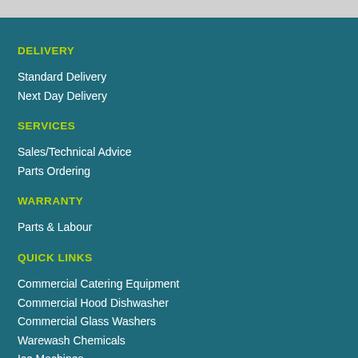DELIVERY
Standard Delivery
Next Day Delivery
SERVICES
Sales/Technical Advice
Parts Ordering
WARRANTY
Parts & Labour
QUICK LINKS
Commercial Catering Equipment
Commercial Hood Dishwasher
Commercial Glass Washers
Warewash Chemicals
Ice Machines
Sustainable Disposables
Public Sector